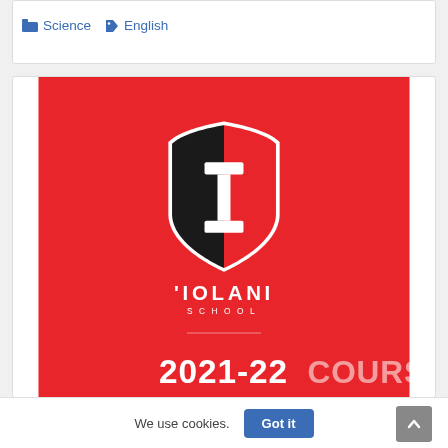Science   English
[Figure (logo): Iolani School logo on red background with shield emblem containing letter I, school name ''IOLANI SCHOOL', divider line, and text '2021-22 COURSE']
We use cookies.
Got it